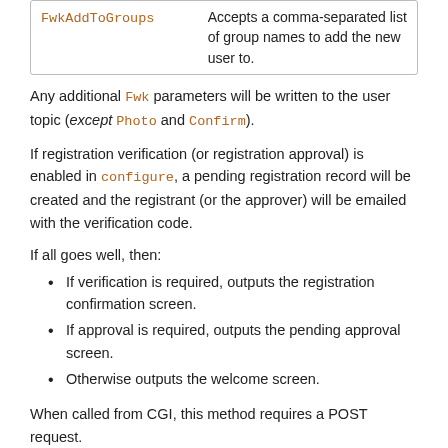| Parameter | Description |
| --- | --- |
| FwkAddToGroups | Accepts a comma-separated list of group names to add the new user to. |
Any additional Fwk parameters will be written to the user topic (except Photo and Confirm).
If registration verification (or registration approval) is enabled in configure, a pending registration record will be created and the registrant (or the approver) will be emailed with the verification code.
If all goes well, then:
If verification is required, outputs the registration confirmation screen.
If approval is required, outputs the pending approval screen.
Otherwise outputs the welcome screen.
When called from CGI, this method requires a POST request.